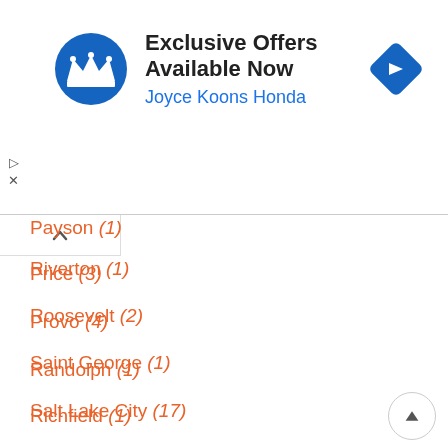[Figure (infographic): Advertisement banner for Joyce Koons Honda showing a blue circular crown logo on the left, bold text 'Exclusive Offers Available Now' and blue text 'Joyce Koons Honda', with a blue diamond-shaped navigation icon on the right.]
Payson (1)
Price (3)
Provo (4)
Randolph (1)
Richfield (1)
Riverton (1)
Roosevelt (2)
Saint George (1)
Salt Lake City (17)